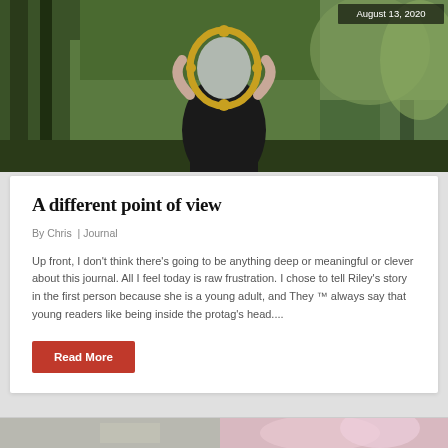[Figure (photo): Person in black dress holding an ornate gold mirror in front of their face, standing in a wooded outdoor setting. Date stamp 'August 13, 2020' in upper right corner.]
A different point of view
By Chris  |  Journal
Up front, I don't think there's going to be anything deep or meaningful or clever about this journal. All I feel today is raw frustration. I chose to tell Riley's story in the first person because she is a young adult, and They ™ always say that young readers like being inside the protag's head....
Read More
[Figure (photo): Partial view of a second article image at bottom of page, showing what appears to be flowers or colorful objects.]